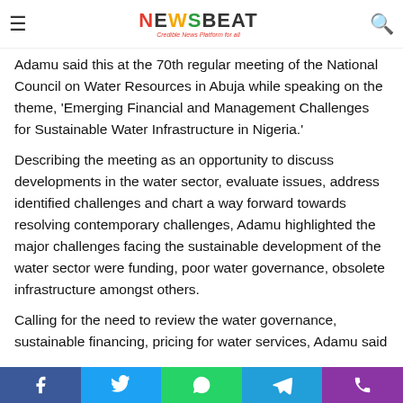NewsBeat — Credible News Platform for all
Adamu said this at the 70th regular meeting of the National Council on Water Resources in Abuja while speaking on the theme, 'Emerging Financial and Management Challenges for Sustainable Water Infrastructure in Nigeria.'
Describing the meeting as an opportunity to discuss developments in the water sector, evaluate issues, address identified challenges and chart a way forward towards resolving contemporary challenges, Adamu highlighted the major challenges facing the sustainable development of the water sector were funding, poor water governance, obsolete infrastructure amongst others.
Calling for the need to review the water governance, sustainable financing, pricing for water services, Adamu said
Share buttons: Facebook, Twitter, WhatsApp, Telegram, Phone